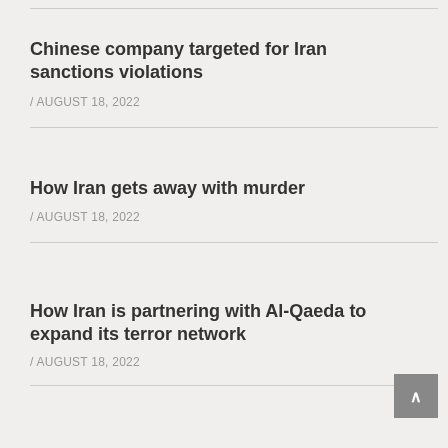Chinese company targeted for Iran sanctions violations
/ AUGUST 18, 2022
How Iran gets away with murder
/ AUGUST 18, 2022
How Iran is partnering with Al-Qaeda to expand its terror network
/ AUGUST 18, 2022